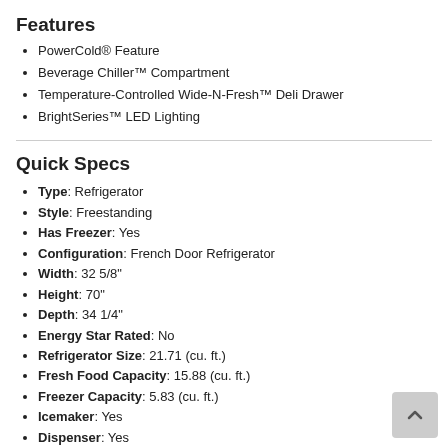Features
PowerCold® Feature
Beverage Chiller™ Compartment
Temperature-Controlled Wide-N-Fresh™ Deli Drawer
BrightSeries™ LED Lighting
Quick Specs
Type: Refrigerator
Style: Freestanding
Has Freezer: Yes
Configuration: French Door Refrigerator
Width: 32 5/8"
Height: 70"
Depth: 34 1/4"
Energy Star Rated: No
Refrigerator Size: 21.71 (cu. ft.)
Fresh Food Capacity: 15.88 (cu. ft.)
Freezer Capacity: 5.83 (cu. ft.)
Icemaker: Yes
Dispenser: Yes
Counter Depth: No
Sabbath Mode: No
WiFi Connected: No